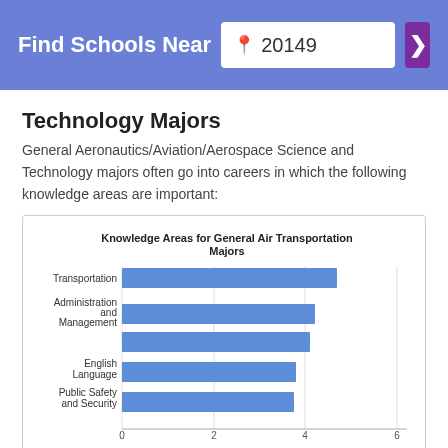Find Schools Near 20149
Technology Majors
General Aeronautics/Aviation/Aerospace Science and Technology majors often go into careers in which the following knowledge areas are important:
[Figure (bar-chart): Knowledge Areas for General Air Transportation Majors]